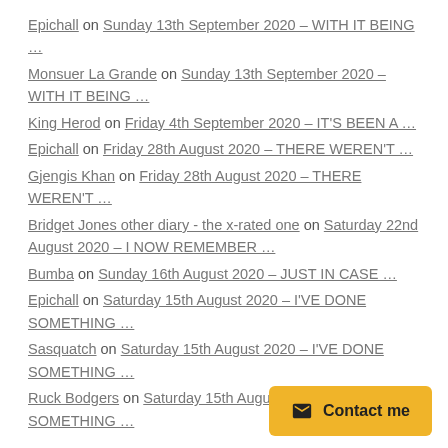Epichall on Sunday 13th September 2020 – WITH IT BEING …
Monsuer La Grande on Sunday 13th September 2020 – WITH IT BEING …
King Herod on Friday 4th September 2020 – IT'S BEEN A …
Epichall on Friday 28th August 2020 – THERE WEREN'T …
Gjengis Khan on Friday 28th August 2020 – THERE WEREN'T …
Bridget Jones other diary - the x-rated one on Saturday 22nd August 2020 – I NOW REMEMBER …
Bumba on Sunday 16th August 2020 – JUST IN CASE …
Epichall on Saturday 15th August 2020 – I'VE DONE SOMETHING …
Sasquatch on Saturday 15th August 2020 – I'VE DONE SOMETHING …
Ruck Bodgers on Saturday 15th August 2020 – I'VE DONE SOMETHING …